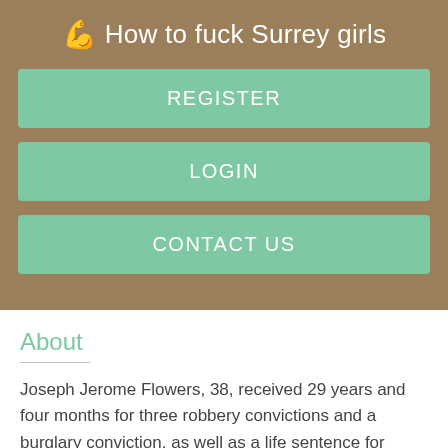💪 How to fuck Surrey girls
REGISTER
LOGIN
CONTACT US
About
Joseph Jerome Flowers, 38, received 29 years and four months for three robbery convictions and a burglary conviction, as well as a life sentence for aggravated kidnapping. The sentence Massage parlor Saint-Jerome